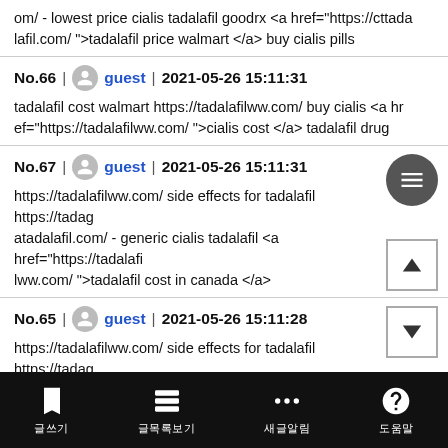om/ - lowest price cialis tadalafil goodrx <a href="https://cttadalafil.com/ ">tadalafil price walmart </a> buy cialis pills
No.66 | guest | 2021-05-26 15:11:31
tadalafil cost walmart https://tadalafilww.com/ buy cialis <a href="https://tadalafilww.com/ ">cialis cost </a> tadalafil drug
No.67 | guest | 2021-05-26 15:11:31
https://tadalafilww.com/ side effects for tadalafil https://tadagatadalafil.com/ - generic cialis tadalafil <a href="https://tadalafilww.com/ ">tadalafil cost in canada </a>
No.65 | guest | 2021-05-26 15:11:28
https://tadalafilww.com/ side effects for tadalafil https://tadagatadalafil.com/ - generic cialis tadalafil <a href="https://tadalafi
글쓰기  글목록보기  새글알림  도움말